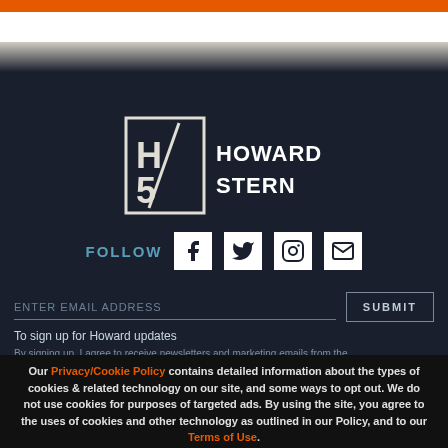[Figure (logo): Howard Stern logo with HS monogram and text HOWARD STERN in white on dark navy background]
FOLLOW
[Figure (infographic): Social media icons: Facebook, Twitter, Instagram, Email (envelope)]
ENTER EMAIL ADDRESS
SUBMIT
To sign up for Howard updates
By signing up, I agree to receive newsletters and marketing emails from the
Our Privacy/Cookie Policy contains detailed information about the types of cookies & related technology on our site, and some ways to opt out. We do not use cookies for purposes of targeted ads. By using the site, you agree to the uses of cookies and other technology as outlined in our Policy, and to our Terms of Use.
Close